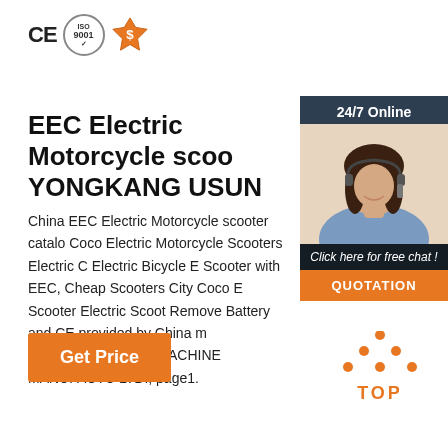[Figure (logo): CE mark, ISO 9001 certification circle, and gold supplier badge icons]
[Figure (photo): Customer service agent sidebar with 24/7 Online label, photo of woman with headset, Click here for free chat text, and QUOTATION button]
EEC Electric Motorcycle scoo YONGKANG USUN
China EEC Electric Motorcycle scooter catalo Coco Electric Motorcycle Scooters Electric C Electric Bicycle E Scooter with EEC, Cheap Scooters City Coco E Scooter Electric Scoot Remove Battery and CE provided by China m YONGKANG USUN MACHINE MANUFACTU LTD., page1.
[Figure (other): Get Price orange button]
[Figure (other): TOP navigation badge with orange dots and TOP text]